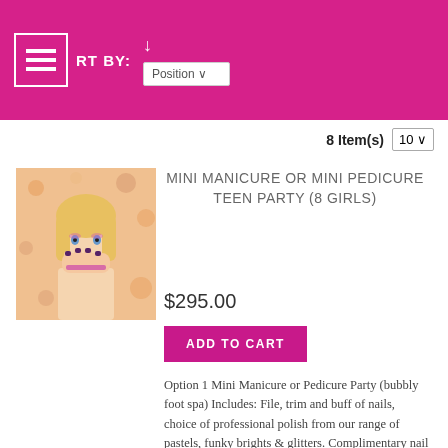SORT BY: Position — 8 Item(s) | 10
MINI MANICURE OR MINI PEDICURE TEEN PARTY (8 GIRLS)
$295.00
ADD TO CART
Option 1 Mini Manicure or Pedicure Party (bubbly foot spa) Includes: File, trim and buff of nails, choice of professional polish from our range of pastels, funky brights & glitters. Complimentary nail art. Shiny quick dry